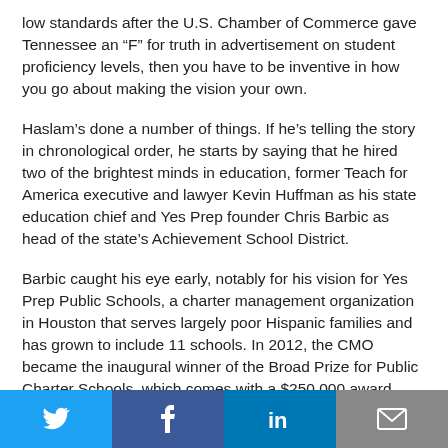low standards after the U.S. Chamber of Commerce gave Tennessee an “F” for truth in advertisement on student proficiency levels, then you have to be inventive in how you go about making the vision your own.
Haslam’s done a number of things. If he’s telling the story in chronological order, he starts by saying that he hired two of the brightest minds in education, former Teach for America executive and lawyer Kevin Huffman as his state education chief and Yes Prep founder Chris Barbic as head of the state’s Achievement School District.
Barbic caught his eye early, notably for his vision for Yes Prep Public Schools, a charter management organization in Houston that serves largely poor Hispanic families and has grown to include 11 schools. In 2012, the CMO became the inaugural winner of the Broad Prize for Public Charter Schools, which comes with a $250,000 award. Barbic was in Tennessee by that time, leading its version of a state recovery
[Figure (other): Social sharing bar with Twitter, Facebook, LinkedIn, and email buttons]